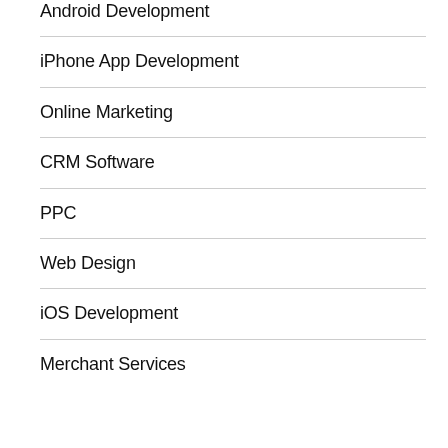Android Development
iPhone App Development
Online Marketing
CRM Software
PPC
Web Design
iOS Development
Merchant Services